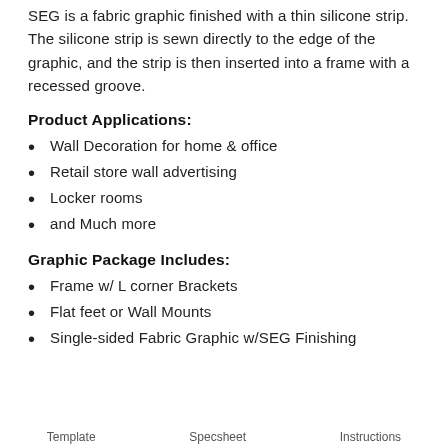SEG is a fabric graphic finished with a thin silicone strip. The silicone strip is sewn directly to the edge of the graphic, and the strip is then inserted into a frame with a recessed groove.
Product Applications:
Wall Decoration for home & office
Retail store wall advertising
Locker rooms
and Much more
Graphic Package Includes:
Frame w/ L corner Brackets
Flat feet or Wall Mounts
Single-sided Fabric Graphic w/SEG Finishing
Template    Specsheet    Instructions